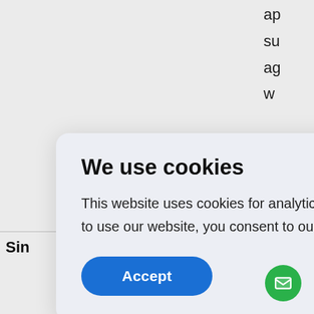ap su ag w
Sin
Fo ex yo a th p p A M th
[Figure (screenshot): Cookie consent modal dialog with title 'We use cookies', body text about analytics, personalization and advertising, a Cookies Policy link, and an Accept button]
[Figure (other): Green circular chat/email button at bottom right corner]